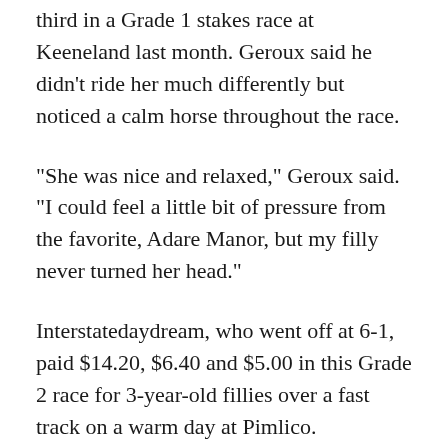third in a Grade 1 stakes race at Keeneland last month. Geroux said he didn't ride her much differently but noticed a calm horse throughout the race.
“She was nice and relaxed,” Geroux said. “I could feel a little bit of pressure from the favorite, Adare Manor, but my filly never turned her head.”
Interstatedaydream, who went off at 6-1, paid $14.20, $6.40 and $5.00 in this Grade 2 race for 3-year-old fillies over a fast track on a warm day at Pimlico.
Adare Manor finished second in the 13-filly affair, with Radio Days taking the show spot.
The winning time of 1:48.73 over a 1⅛ miles was just off the Black-Eyed Susan record of 1:47.83 set by